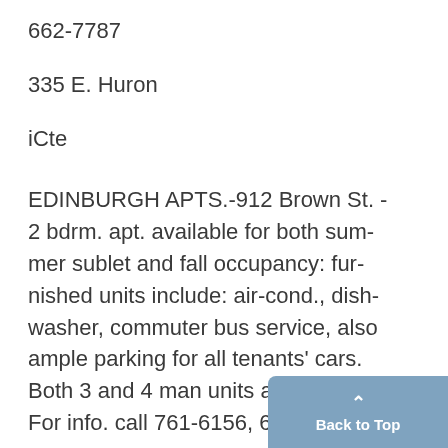662-7787
335 E. Huron
iCte
EDINBURGH APTS.-912 Brown St. - 2 bdrm. apt. available for both summer sublet and fall occupancy: furnished units include: air-cond., dishwasher, commuter bus service, also ample parking for all tenants' cars. Both 3 and 4 man units available. For info. call 761-6156, 665-9$66, or